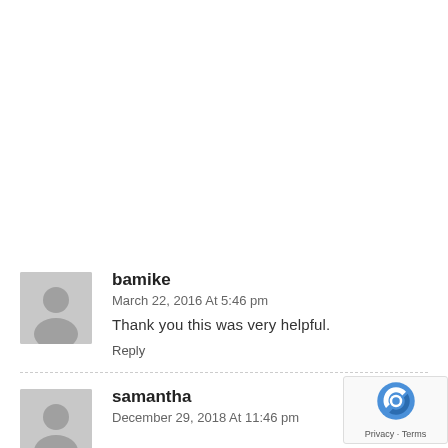bamike
March 22, 2016 At 5:46 pm
Thank you this was very helpful.
Reply
samantha
December 29, 2018 At 11:46 pm